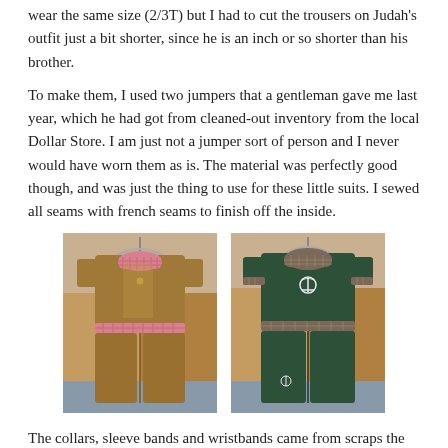wear the same size (2/3T) but I had to cut the trousers on Judah's outfit just a bit shorter, since he is an inch or so shorter than his brother.
To make them, I used two jumpers that a gentleman gave me last year, which he had got from cleaned-out inventory from the local Dollar Store. I am just not a jumper sort of person and I never would have worn them as is. The material was perfectly good though, and was just the thing to use for these little suits. I sewed all seams with french seams to finish off the inside.
[Figure (photo): Two children's outfits on hangers displayed side by side. Left: a tan/brown short-sleeved romper suit with pink gingham collar, buttons, and matching belt. Right: a dark green short-sleeved romper suit with plaid collar and cuffs, white anchor emblem, and plaid waistband.]
The collars, sleeve bands and waistbands came from scraps the rel...